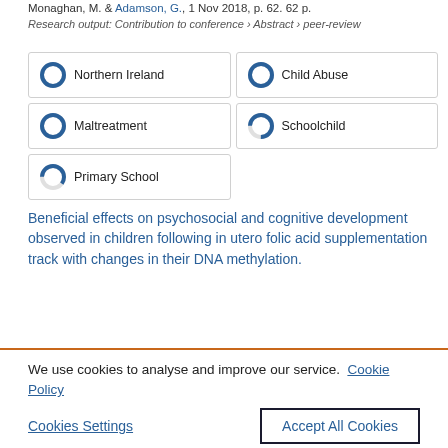Monaghan, M. & Adamson, G., 1 Nov 2018, p. 62. 62 p.
Research output: Contribution to conference › Abstract › peer-review
100% Northern Ireland | 100% Child Abuse | 100% Maltreatment | 75% Schoolchild | 60% Primary School
Beneficial effects on psychosocial and cognitive development observed in children following in utero folic acid supplementation track with changes in their DNA methylation.
We use cookies to analyse and improve our service. Cookie Policy
Cookies Settings
Accept All Cookies